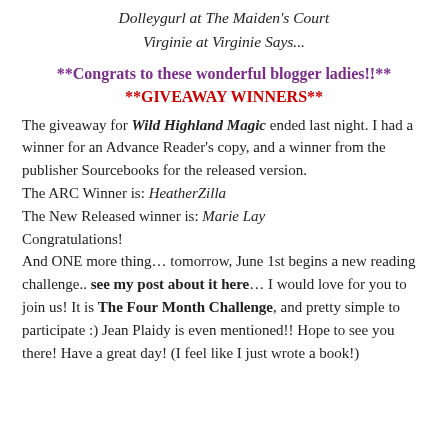Dolleygurl at The Maiden's Court
Virginie at Virginie Says...
**Congrats to these wonderful blogger ladies!!**
**GIVEAWAY WINNERS**
The giveaway for Wild Highland Magic ended last night. I had a winner for an Advance Reader's copy, and a winner from the publisher Sourcebooks for the released version. The ARC Winner is: HeatherZilla The New Released winner is: Marie Lay Congratulations! And ONE more thing... tomorrow, June 1st begins a new reading challenge.. see my post about it here... I would love for you to join us! It is The Four Month Challenge, and pretty simple to participate :) Jean Plaidy is even mentioned!! Hope to see you there! Have a great day! (I feel like I just wrote a book!)